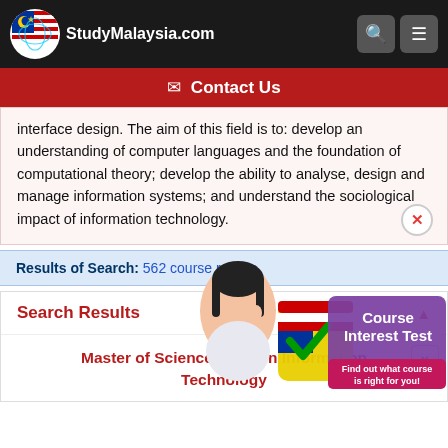StudyMalaysia.com
✉ Contact Us
interface design. The aim of this field is to: develop an understanding of computer languages and the foundation of computational theory; develop the ability to analyse, design and manage information systems; and understand the sociological impact of information technology.
Results of Search: 562 course results
Search Results
Master of Science (MSc) in Information Technology
[Figure (illustration): Course Interest Test popup with a Malaysian girl thinking, checkmark logo, and text: 'Find out what course is right for you!']